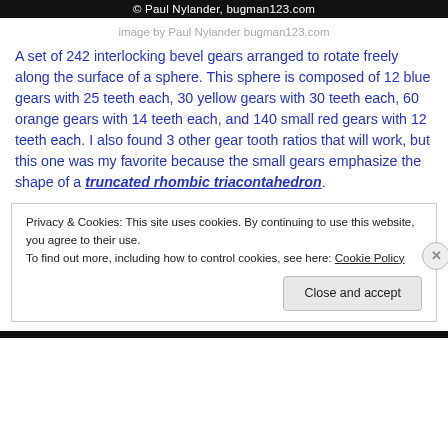© Paul Nylander, bugman123.com
image by Paul Nylander bugman123.com
A set of 242 interlocking bevel gears arranged to rotate freely along the surface of a sphere. This sphere is composed of 12 blue gears with 25 teeth each, 30 yellow gears with 30 teeth each, 60 orange gears with 14 teeth each, and 140 small red gears with 12 teeth each. I also found 3 other gear tooth ratios that will work, but this one was my favorite because the small gears emphasize the shape of a truncated rhombic triacontahedron.
Privacy & Cookies: This site uses cookies. By continuing to use this website, you agree to their use.
To find out more, including how to control cookies, see here: Cookie Policy